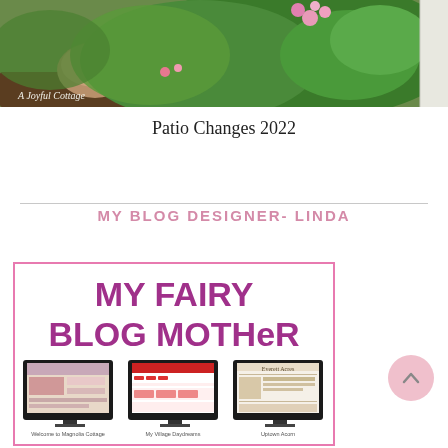[Figure (photo): Garden photo showing green plants, flowers, and stone in a cottage garden. Watermark text reads 'A Joyful Cottage' in italic script.]
Patio Changes 2022
MY BLOG DESIGNER- LINDA
[Figure (screenshot): Advertisement image for 'My Fairy Blog Mother' blog design service with pink border. Shows large purple bold text 'MY FAIRY BLOG MOTHER' at top and three computer monitor screenshots of blog designs below, with captions 'Welcome to Magnolia Cottage', 'My Village Daydreams', and 'Uptown Acorn'.]